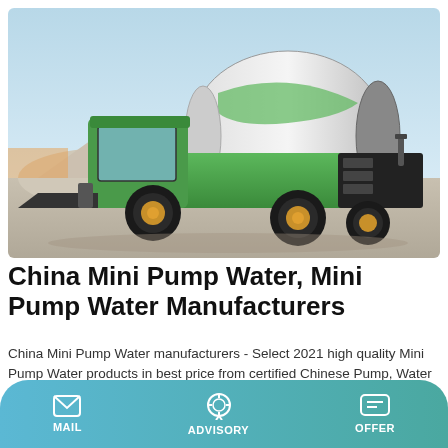[Figure (photo): Green and black self-loading concrete mixer truck parked on a sandy/gravel construction site under a clear sky]
China Mini Pump Water, Mini Pump Water Manufacturers
China Mini Pump Water manufacturers - Select 2021 high quality Mini Pump Water products in best price from certified Chinese Pump, Water Pump suppliers, wholesalers and factory on …
MAIL   ADVISORY   OFFER